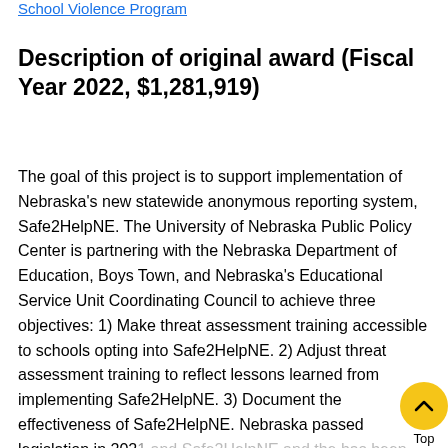School Violence Program
Description of original award (Fiscal Year 2022, $1,281,919)
The goal of this project is to support implementation of Nebraska's new statewide anonymous reporting system, Safe2HelpNE. The University of Nebraska Public Policy Center is partnering with the Nebraska Department of Education, Boys Town, and Nebraska's Educational Service Unit Coordinating Council to achieve three objectives: 1) Make threat assessment training accessible to schools opting into Safe2HelpNE. 2) Adjust threat assessment training to reflect lessons learned from implementing Safe2HelpNE. 3) Document the effectiveness of Safe2HelpNE. Nebraska passed legislation in 202… and Safe2HelpNE and the has been from the